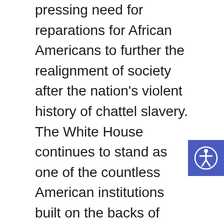pressing need for reparations for African Americans to further the realignment of society after the nation's violent history of chattel slavery. The White House continues to stand as one of the countless American institutions built on the backs of slaves who are yet to be properly compensated for generations of exploited labor and abuse. Echoing a theme of the event, social justice demands more than representational concessions but seismic structural reforms that forever changes the map of cultural powers in the country. It is not enough to affirm, like, or speak support for #blacklivesmatter. Rather, society needs to shake ups in police protocols, hiring practices, and cultural orientations. The White House's Raffi Freedman-Gurspan, a transgender woman of color recently hired to direct outreach and recruitment
[Figure (other): Accessibility icon button (person with circle) in blue square, positioned at right side of page]